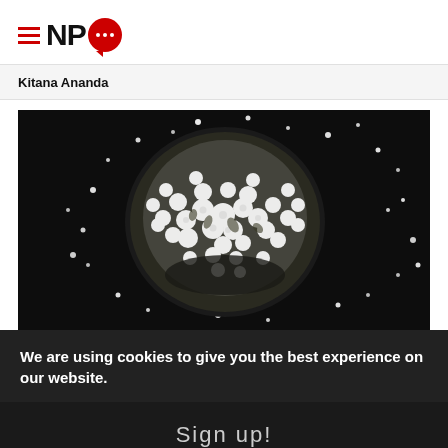NPQ logo with hamburger menu lines and speech bubble
Kitana Ananda
[Figure (photo): Top-down photograph of a large bunch of small white flowers (possibly spirea or elderflower), arranged in a rounded cluster on a dark black background with scattered individual small white petals and flower heads surrounding the main cluster.]
We are using cookies to give you the best experience on our website.
Sign up!